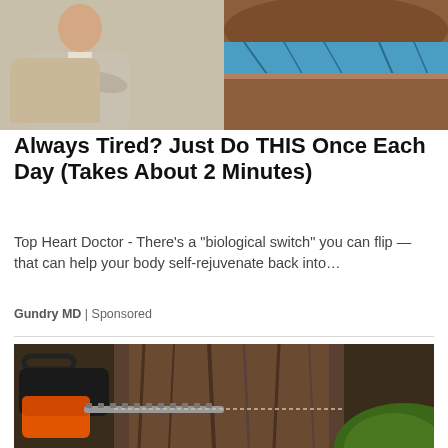[Figure (photo): Split image: left side shows a person with arms crossed wearing a beige jacket, right side shows a layered cross-section of earth or mattress material with blue and brown layers]
Always Tired? Just Do THIS Once Each Day (Takes About 2 Minutes)
Top Heart Doctor - There’s a “biological switch” you can flip — that can help your body self-rejuvenate back into…
Gundry MD | Sponsored
[Figure (photo): A chainsaw cutting into the base of a large tree trunk, with green grass visible in the background on the right side]